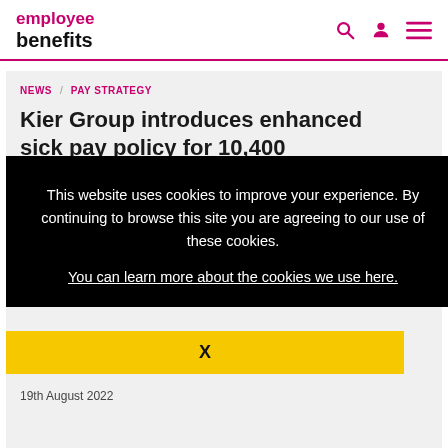employee benefits
NEWS / PAY STRATEGY
Kier Group introduces enhanced sick pay policy for 10,400 construction staff
This website uses cookies to improve your experience. By continuing to browse this site you are agreeing to our use of these cookies.
You can learn more about the cookies we use here.
X
19th August 2022